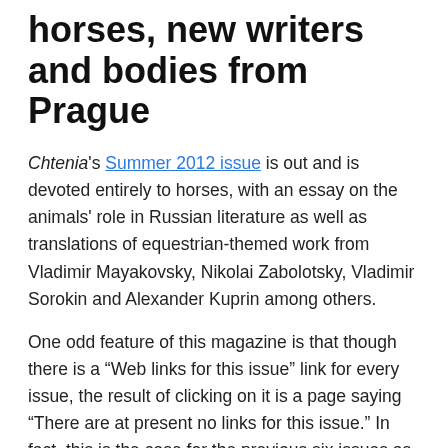horses, new writers and bodies from Prague
Chtenia's Summer 2012 issue is out and is devoted entirely to horses, with an essay on the animals' role in Russian literature as well as translations of equestrian-themed work from Vladimir Mayakovsky, Nikolai Zabolotsky, Vladimir Sorokin and Alexander Kuprin among others.
One odd feature of this magazine is that though there is a “Web links for this issue” link for every issue, the result of clicking on it is a page saying “There are at present no links for this issue.” In fact, this is the case for the previous six issues as well. A little inaccessible, a little archaic – and yet, we are talking about horses.